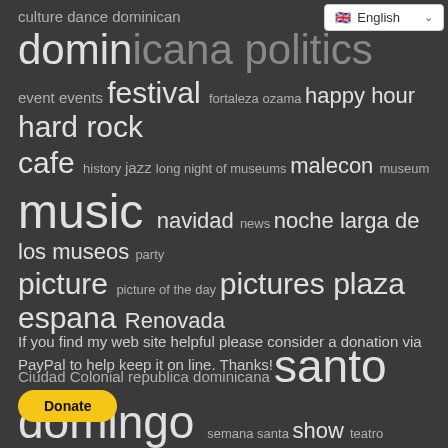[Figure (other): Language selector widget showing English with UK flag and dropdown chevron]
culture dance dominican dominicana politics event events festival fortaleza ozama happy hour hard rock cafe history jazz long night of museums malecon museum music navidad news noche larga de los museos party picture picture of the day pictures plaza espana Renovada Ciudad Colonial republica dominicana santo domingo semana santa show teatro nacional theater tourism video zona colonial
If you find my web site helpful please consider a donation via PayPal to help keep it on line. Thanks!
[Figure (other): Yellow PayPal Donate button]